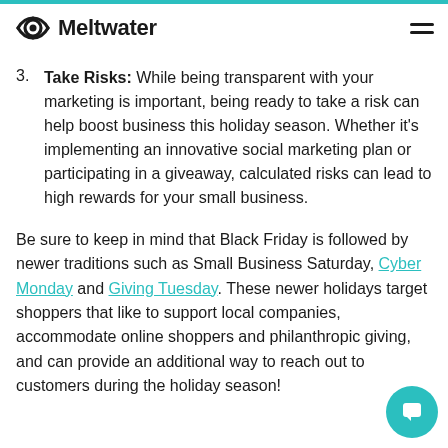Meltwater
3. Take Risks: While being transparent with your marketing is important, being ready to take a risk can help boost business this holiday season. Whether it's implementing an innovative social marketing plan or participating in a giveaway, calculated risks can lead to high rewards for your small business.
Be sure to keep in mind that Black Friday is followed by newer traditions such as Small Business Saturday, Cyber Monday and Giving Tuesday. These newer holidays target shoppers that like to support local companies, accommodate online shoppers and philanthropic giving, and can provide an additional way to reach out to customers during the holiday season!